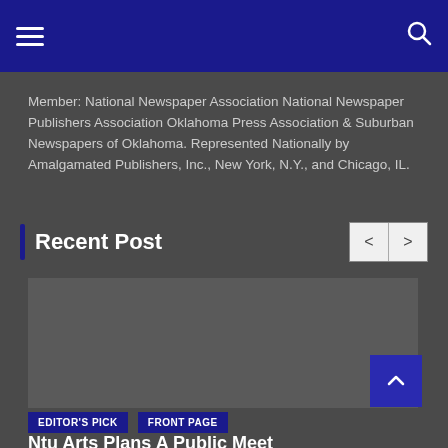Navigation bar with hamburger menu and search icon
Member: National Newspaper Association National Newspaper Publishers Association Oklahoma Press Association & Suburban Newspapers of Oklahoma. Represented Nationally by Amalgamated Publishers, Inc., New York, N.Y., and Chicago, IL.
Recent Post
[Figure (photo): Placeholder image area for a recent post article, dark gray rectangle]
EDITOR'S PICK
FRONT PAGE
Ntu Arts Plans A Public Meet